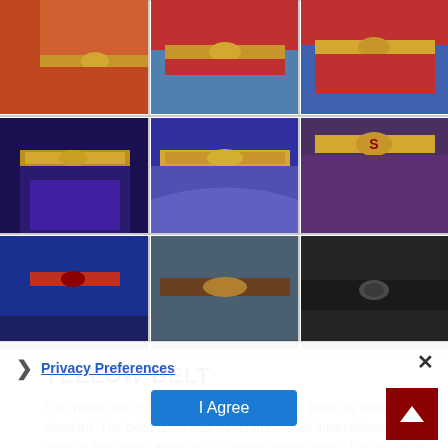[Figure (photo): 3x3 grid of superhero costume belt close-up images showing different versions of Superman and similar superhero belts - yellow/gold belts, red belts, and dark belts across animated, live-action, and comic versions]
YELLOW BELT
The yellow belt is also something you might think as being fairly standard. The belt buckle has varied in different incarnations. Some times it has been drawn as a simple yellow circle. Usually as a yellow some times it has bevelled interior edge (sometimes raised, sometimes
[Figure (screenshot): Privacy preferences cookie consent overlay with close button, Privacy Preferences link, I Agree button, and a scroll-to-top arrow button]